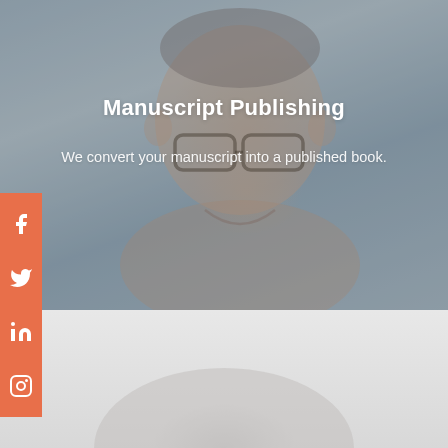[Figure (photo): Portrait photo of a middle-aged man with glasses and short grey hair, smiling, with text overlay showing 'Manuscript Publishing' title and subtitle]
Manuscript Publishing
We convert your manuscript into a published book.
[Figure (photo): Bottom portion showing a light grey background with a faint book or globe silhouette]
[Figure (infographic): Orange social media sidebar with Facebook, Twitter, LinkedIn, and Instagram icons]